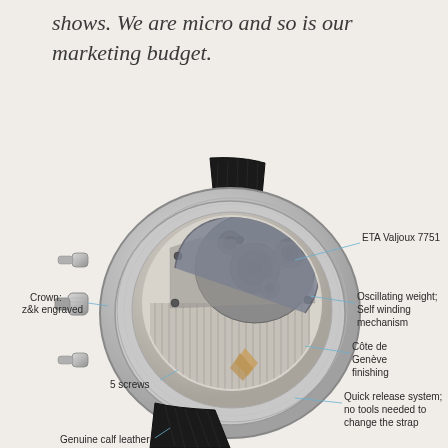shows. We are micro and so is our marketing budget.
[Figure (engineering-diagram): Back view of a luxury watch (z&k brand) with labeled components: ETA Valjoux 7751 movement, Crown z&k engraved, Oscillating weight / Self winding mechanism, Côte de Genève finishing, 5 screws, Quick release system (no tools needed to change the strap), Genuine calf leather strap. The watch has a transparent caseback showing the movement.]